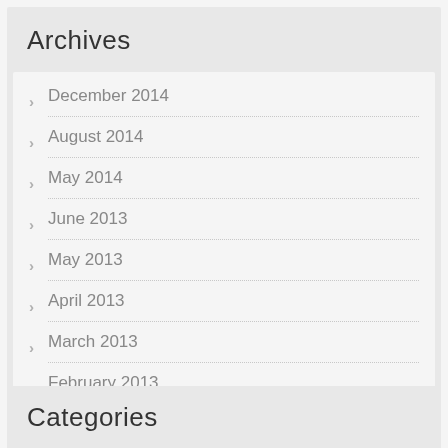Archives
December 2014
August 2014
May 2014
June 2013
May 2013
April 2013
March 2013
February 2013
January 2013
Categories